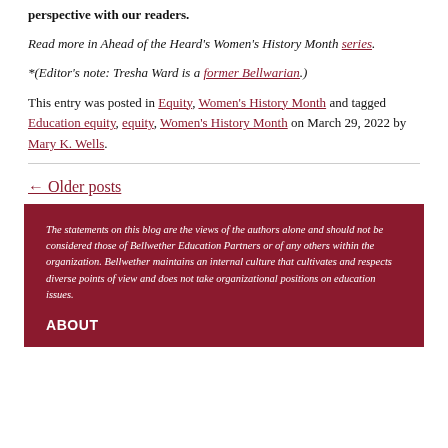perspective with our readers.
Read more in Ahead of the Heard's Women's History Month series.
*(Editor's note: Tresha Ward is a former Bellwarian.)
This entry was posted in Equity, Women's History Month and tagged Education equity, equity, Women's History Month on March 29, 2022 by Mary K. Wells.
← Older posts
The statements on this blog are the views of the authors alone and should not be considered those of Bellwether Education Partners or of any others within the organization. Bellwether maintains an internal culture that cultivates and respects diverse points of view and does not take organizational positions on education issues.
ABOUT